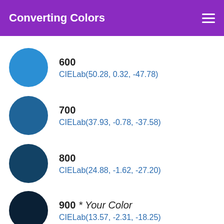Converting Colors
600 CIELab(50.28, 0.32, -47.78)
700 CIELab(37.93, -0.78, -37.58)
800 CIELab(24.88, -1.62, -27.20)
900 * Your Color CIELab(13.57, -2.31, -18.25)